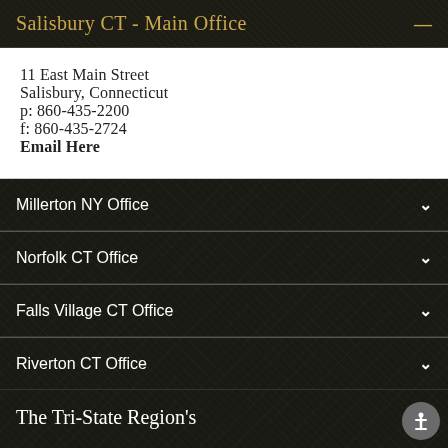Salisbury CT - Main Office
11 East Main Street
Salisbury, Connecticut
p: 860-435-2200
f: 860-435-2724
Email Here
Millerton NY Office
Norfolk CT Office
Falls Village CT Office
Riverton CT Office
The Tri-State Region's